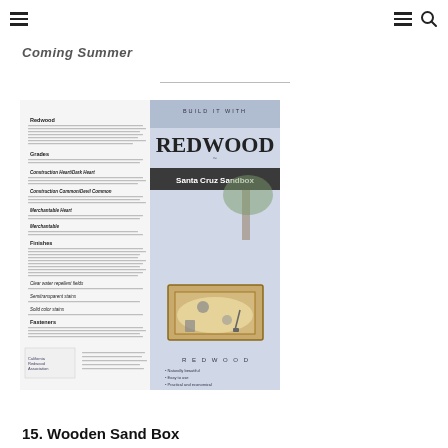≡  ≡ 🔍
Coming Summer
[Figure (illustration): Redwood promotional brochure page titled 'Build it with Redwood - Santa Cruz Sandbox' showing an illustrated wooden sandbox with children's toys, redwood information, California Redwood Association logo and contact details.]
15. Wooden Sand Box